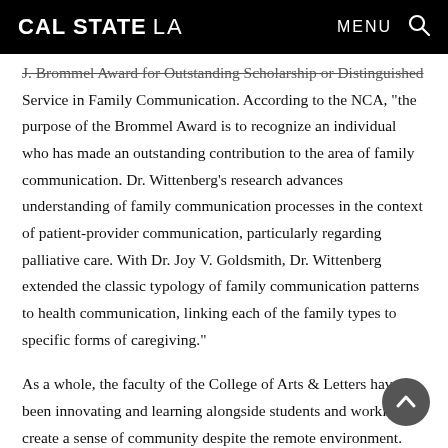CAL STATE LA | MENU
J. Brommel Award for Outstanding Scholarship or Distinguished Service in Family Communication. According to the NCA, “the purpose of the Brommel Award is to recognize an individual who has made an outstanding contribution to the area of family communication. Dr. Wittenberg’s research advances understanding of family communication processes in the context of patient-provider communication, particularly regarding palliative care. With Dr. Joy V. Goldsmith, Dr. Wittenberg extended the classic typology of family communication patterns to health communication, linking each of the family types to specific forms of caregiving.”
As a whole, the faculty of the College of Arts & Letters have been innovating and learning alongside students and working to create a sense of community despite the remote environment. Faculty in the Department of Liberal Studies, for example, are using collaborative online reading tools, videos and regular check-ins to create